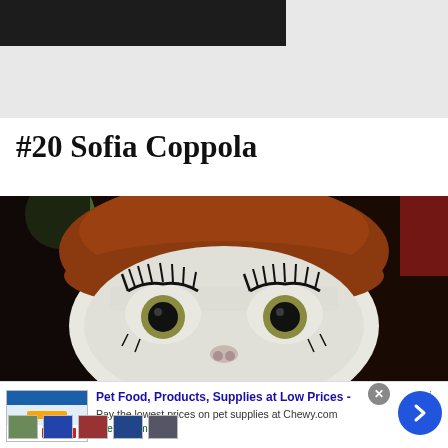[Figure (photo): Dark screenshot from website, top portion only showing edge of previous content]
#20 Sofia Coppola
[Figure (photo): Close-up photo of a white cat with large dark eyes, wearing a red/auburn wig with bangs, styled to look like a doll face with dramatic eyelashes and heavy eye makeup]
[Figure (screenshot): Online advertisement for Chewy.com pet food and supplies, with headline 'Pet Food, Products, Supplies at Low Prices -', subtext 'Pay the lowest prices on pet supplies at Chewy.com', URL 'chewy.com', with thumbnail images and navigation arrow]